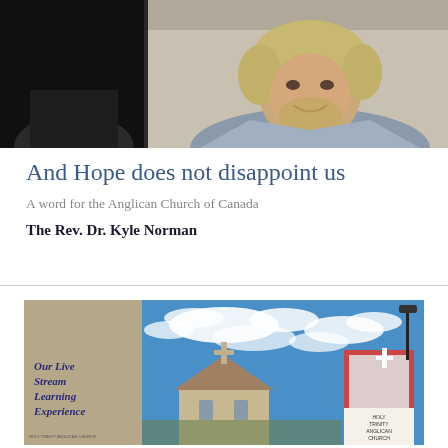[Figure (photo): Portrait photo of a man with blonde/grey wavy hair and beard, smiling, against a dark background on the left side and light interior on the right]
And Hope does not disappoint us
A word for the Anglican Church of Canada
The Rev. Dr. Kyle Norman
[Figure (photo): Photo of Holy Trinity Anglican Church exterior with blue sky and clouds, with italic text overlay reading 'Our Live Stream Learning Experience' and a church sign visible on the right]